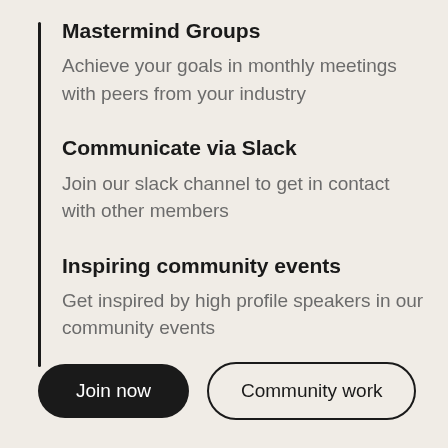Mastermind Groups
Achieve your goals in monthly meetings with peers from your industry
Communicate via Slack
Join our slack channel to get in contact with other members
Inspiring community events
Get inspired by high profile speakers in our community events
Join now
Community work